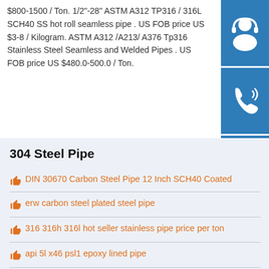$800-1500 / Ton. 1/2"-28" ASTM A312 TP316 / 316L SCH40 SS hot roll seamless pipe . US FOB price US $3-8 / Kilogram. ASTM A312 /A213/ A376 Tp316 Stainless Steel Seamless and Welded Pipes . US FOB price US $480.0-500.0 / Ton.
[Figure (illustration): Customer service icon - headset with person silhouette on blue background]
[Figure (illustration): Phone/call icon on blue background]
[Figure (illustration): Skype icon on blue background]
304 Steel Pipe
DIN 30670 Carbon Steel Pipe 12 Inch SCH40 Coated
erw carbon steel plated steel pipe
316 316h 316l hot seller stainless pipe price per ton
api 5l x46 psl1 epoxy lined pipe